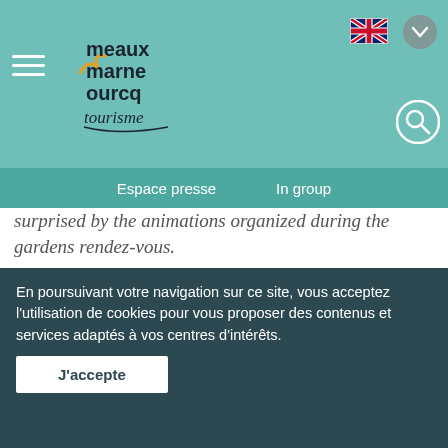Meaux Marne Ourcq tourisme — navigation header with hamburger menu, logo, UK flag language selector, and search icon
Espace presse   In group
surprised by the animations organized during the gardens rendez-vous.
[Figure (photo): Exterior view of a French château surrounded by large trees with green foliage on a sunny day]
En poursuivant votre navigation sur ce site, vous acceptez l'utilisation de cookies pour vous proposer des contenus et services adaptés à vos centres d'intérêts.
J'accepte